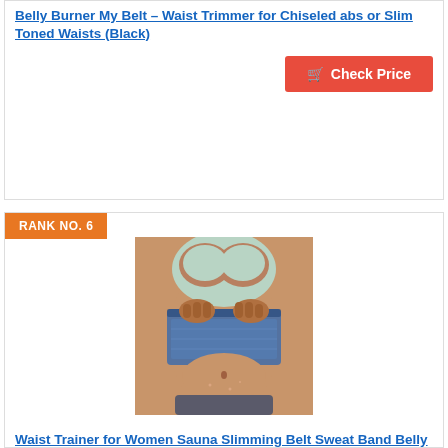Belly Burner My Belt – Waist Trimmer for Chiseled abs or Slim Toned Waists (Black)
Check Price
RANK NO. 6
[Figure (photo): Woman wearing a blue sauna slimming waist trainer belt, lifting it up to show stomach]
Waist Trainer for Women Sauna Slimming Belt Sweat Band Belly Fat Trimmer Stomach Wraps Cincher Workout Fitness Burner,Black,Small
Prime